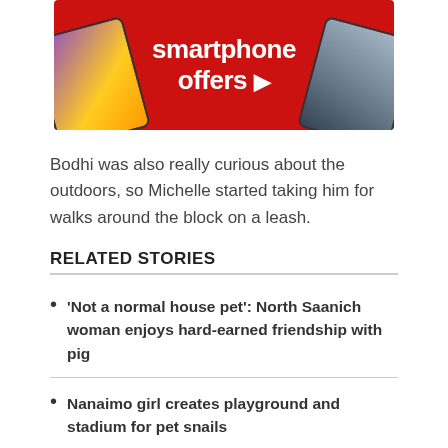[Figure (advertisement): Red background smartphone offers advertisement banner with two Samsung phones on left and right sides]
Bodhi was also really curious about the outdoors, so Michelle started taking him for walks around the block on a leash.
RELATED STORIES
'Not a normal house pet': North Saanich woman enjoys hard-earned friendship with pig
Nanaimo girl creates playground and stadium for pet snails